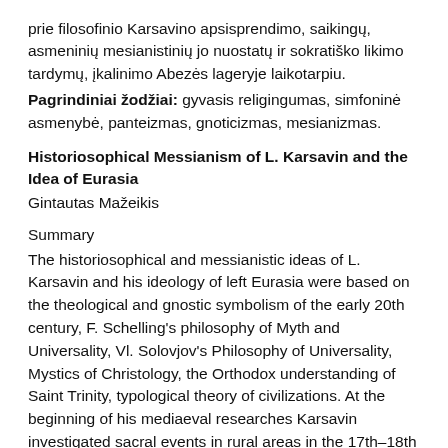prie filosofinio Karsavino apsisprendimo, saikingų, asmeninių mesianistinių jo nuostatų ir sokratiško likimo tardymų, įkalinimo Abezės lageryje laikotarpiu.
Pagrindiniai žodžiai: gyvasis religingumas, simfoninė asmenybė, panteizmas, gnoticizmas, mesianizmas.
Historiosophical Messianism of L. Karsavin and the Idea of Eurasia
Gintautas Mažeikis
Summary
The historiosophical and messianistic ideas of L. Karsavin and his ideology of left Eurasia were based on the theological and gnostic symbolism of the early 20th century, F. Schelling's philosophy of Myth and Universality, Vl. Solovjov's Philosophy of Universality, Mystics of Christology, the Orthodox understanding of Saint Trinity, typological theory of civilizations. At the beginning of his mediaeval researches Karsavin investigated sacral events in rural areas in the 17th–18th